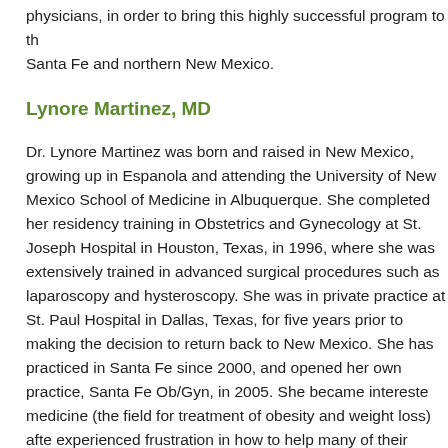physicians, in order to bring this highly successful program to the Santa Fe and northern New Mexico.
Lynore Martinez, MD
Dr. Lynore Martinez was born and raised in New Mexico, growing up in Espanola and attending the University of New Mexico School of Medicine in Albuquerque. She completed her residency training in Obstetrics and Gynecology at St. Joseph Hospital in Houston, Texas, in 1996, where she was extensively trained in advanced surgical procedures such as laparoscopy and hysteroscopy. She was in private practice at St. Paul Hospital in Dallas, Texas, for five years prior to making the decision to return back to New Mexico. She has practiced in Santa Fe since 2000, and opened her own practice, Santa Fe Ob/Gyn, in 2005. She became interested medicine (the field for treatment of obesity and weight loss) after experienced frustration in how to help many of their patients who weight issues and medical problems associated with being over